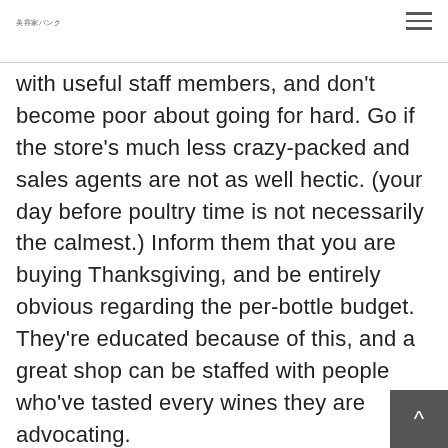美容家バンク
with useful staff members, and don't become poor about going for hard. Go if the store's much less crazy-packed and sales agents are not as well hectic. (your day before poultry time is not necessarily the calmest.) Inform them that you are buying Thanksgiving, and be entirely obvious regarding the per-bottle budget. They're educated because of this, and a great shop can be staffed with people who've tasted every wines they are advocating.